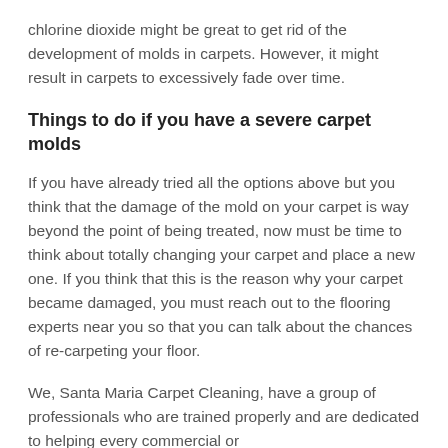chlorine dioxide might be great to get rid of the development of molds in carpets. However, it might result in carpets to excessively fade over time.
Things to do if you have a severe carpet molds
If you have already tried all the options above but you think that the damage of the mold on your carpet is way beyond the point of being treated, now must be time to think about totally changing your carpet and place a new one. If you think that this is the reason why your carpet became damaged, you must reach out to the flooring experts near you so that you can talk about the chances of re-carpeting your floor.
We, Santa Maria Carpet Cleaning, have a group of professionals who are trained properly and are dedicated to helping every commercial or